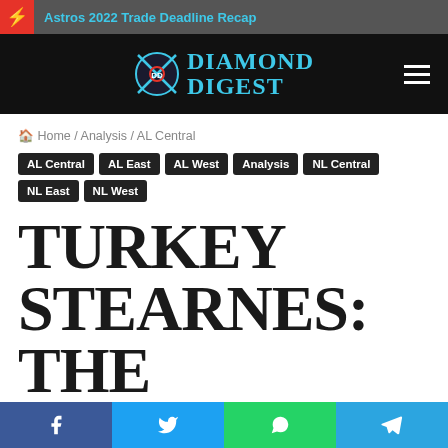Astros 2022 Trade Deadline Recap
[Figure (logo): Diamond Digest logo with baseball cross icon and teal text reading DIAMOND DIGEST]
Home / Analysis / AL Central
AL Central
AL East
AL West
Analysis
NL Central
NL East
NL West
TURKEY STEARNES: THE FORGOTTEN